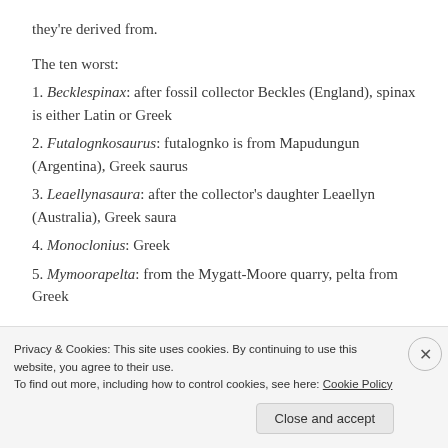they're derived from.
The ten worst:
1. Becklespinax: after fossil collector Beckles (England), spinax is either Latin or Greek
2. Futalognkosaurus: futalognko is from Mapudungun (Argentina), Greek saurus
3. Leaellynasaura: after the collector's daughter Leaellyn (Australia), Greek saura
4. Monoclonius: Greek
5. Mymoorapelta: from the Mygatt-Moore quarry, pelta from Greek
Privacy & Cookies: This site uses cookies. By continuing to use this website, you agree to their use. To find out more, including how to control cookies, see here: Cookie Policy